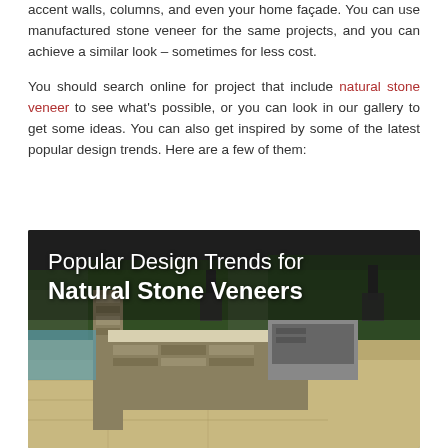accent walls, columns, and even your home façade. You can use manufactured stone veneer for the same projects, and you can achieve a similar look – sometimes for less cost.
You should search online for project that include natural stone veneer to see what's possible, or you can look in our gallery to get some ideas. You can also get inspired by some of the latest popular design trends. Here are a few of them:
[Figure (photo): Outdoor kitchen with natural stone veneer on counters and columns, with text overlay reading 'Popular Design Trends for Natural Stone Veneers']